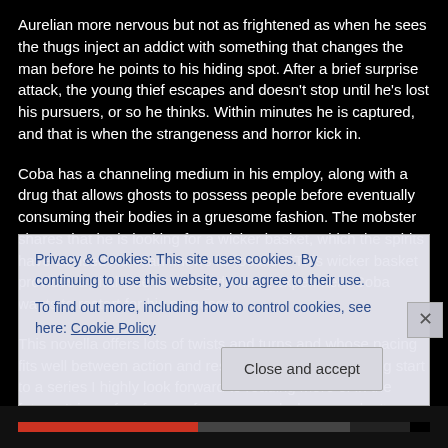Aurelian more nervous but not as frightened as when he sees the thugs inject an addict with something that changes the man before he points to his hiding spot. After a brief surprise attack, the young thief escapes and doesn't stop until he's lost his pursuers, or so he thinks. Within minutes he is captured, and that is when the strangeness and horror kick in.
Coba has a channeling medium in his employ, along with a drug that allows ghosts to possess people before eventually consuming their bodies in a gruesome fashion. The mobster shares that he is looking for a wicker basket, which the spirits have advised Aurelian knows its location. This wicker basket provides a vital clue to a long-dormant experiment Coba wants to restart for his purposes.
This novella offers lots of twists and turns and whose pacing fits well between action and rest periods. It is an exciting start to a series I highly look forward to reading more of in the future. It is perfect for an afternoon read when you don't
Privacy & Cookies: This site uses cookies. By continuing to use this website, you agree to their use.
To find out more, including how to control cookies, see here: Cookie Policy
Close and accept